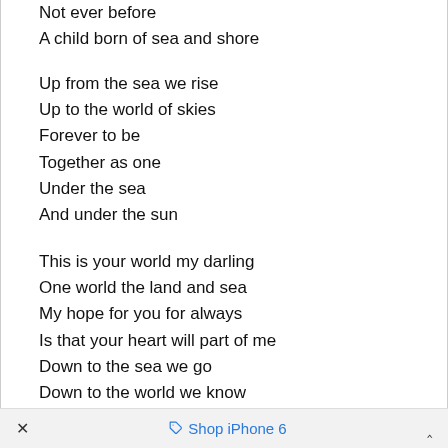Not ever before
A child born of sea and shore
Up from the sea we rise
Up to the world of skies
Forever to be
Together as one
Under the sea
And under the sun
This is your world my darling
One world the land and sea
My hope for you for always
Is that your heart will part of me
Down to the sea we go
Down to the world we know
× Shop iPhone 6 ^